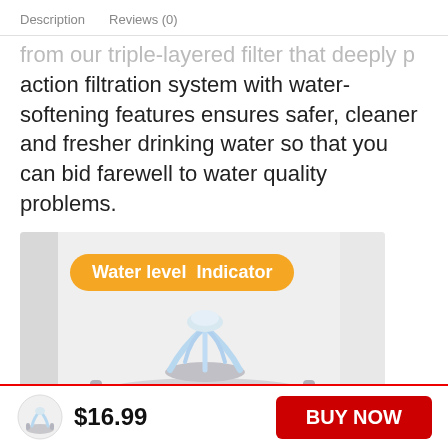Description   Reviews (0)
action filtration system with water-softening features ensures safer, cleaner and fresher drinking water so that you can bid farewell to water quality problems.
[Figure (photo): Product photo of a pet water fountain with a transparent bubbling fountain spout, shown on a light grey background, with an orange badge overlay reading 'Water level Indicator']
$16.99
BUY NOW